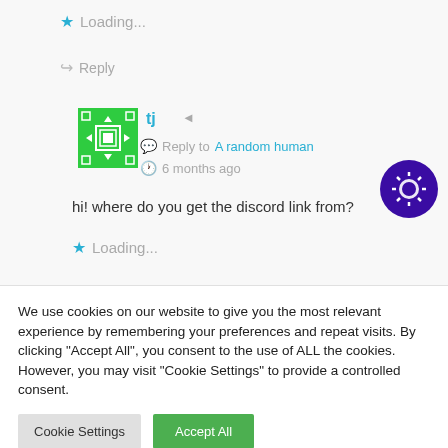★ Loading...
↪ Reply
tj
Reply to A random human
6 months ago
hi! where do you get the discord link from?
★ Loading...
We use cookies on our website to give you the most relevant experience by remembering your preferences and repeat visits. By clicking "Accept All", you consent to the use of ALL the cookies. However, you may visit "Cookie Settings" to provide a controlled consent.
Cookie Settings
Accept All